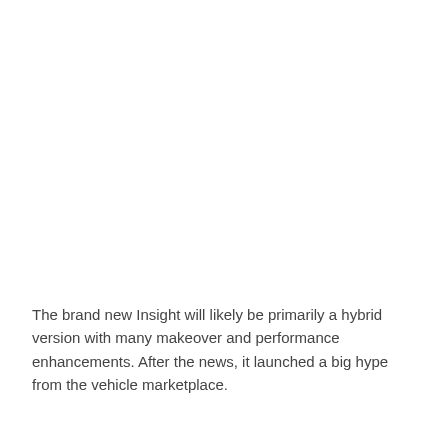The brand new Insight will likely be primarily a hybrid version with many makeover and performance enhancements. After the news, it launched a big hype from the vehicle marketplace.